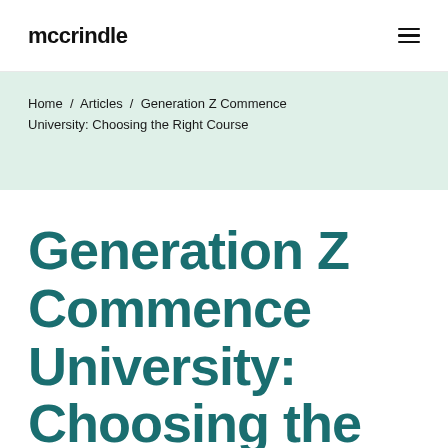mccrindle
Home / Articles / Generation Z Commence University: Choosing the Right Course
Generation Z Commence University: Choosing the